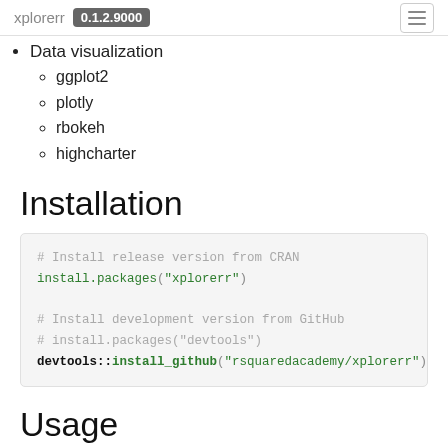xplorerr 0.1.2.9000
Data visualization
ggplot2
plotly
rbokeh
highcharter
Installation
# Install release version from CRAN
install.packages("xplorerr")

# Install development version from GitHub
# install.packages("devtools")
devtools::install_github("rsquaredacademy/xplorerr")
Usage